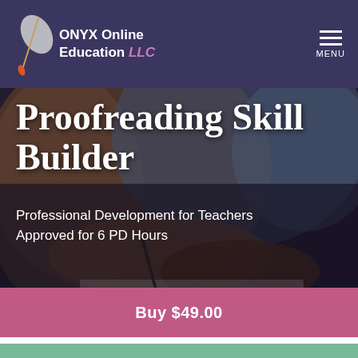ONYX Online Education LLC — MENU
[Figure (photo): A person in a brown jacket writing in a notebook, photographed from above/mid angle with dark overlay]
Proofreading Skill Builder
Professional Development for Teachers
Approved for 6 PD Hours
Buy $49.00